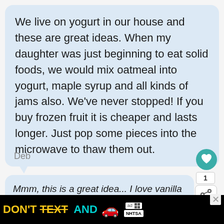We live on yogurt in our house and these are great ideas. When my daughter was just beginning to eat solid foods, we would mix oatmeal into yogurt, maple syrup and all kinds of jams also. We've never stopped! If you buy frozen fruit it is cheaper and lasts longer. Just pop some pieces into the microwave to thaw them out.
Deb
Mmm, this is a great idea... I love vanilla yogurt, I I could just add a little vanilla extract to my plain y...
[Figure (infographic): Black advertisement banner: DON'T TEXT AND [car emoji] with NHTSA logo and ad badge, close X button]